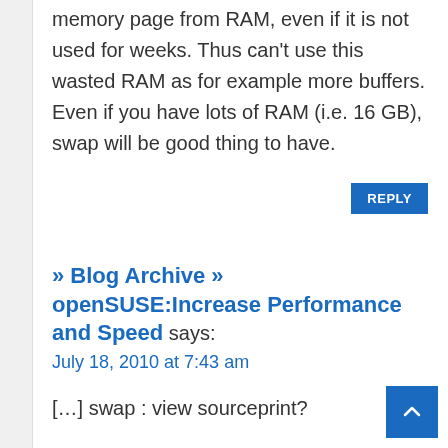memory page from RAM, even if it is not used for weeks. Thus can't use this wasted RAM as for example more buffers. Even if you have lots of RAM (i.e. 16 GB), swap will be good thing to have.
REPLY
» Blog Archive » openSUSE:Increase Performance and Speed says:
July 18, 2010 at 7:43 am
[…] swap : view sourceprint?